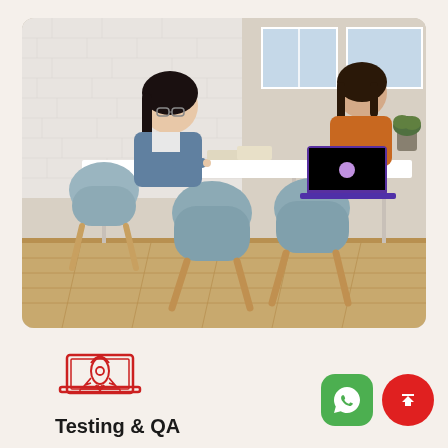[Figure (photo): Two women working at a white table with light blue/grey modern chairs in a bright office with white brick wall and large windows. Left woman in denim jacket writing, right woman in orange top using a purple laptop.]
[Figure (illustration): Red line icon of a laptop with a rocket launching from the screen, representing a startup/launch concept.]
Testing & QA